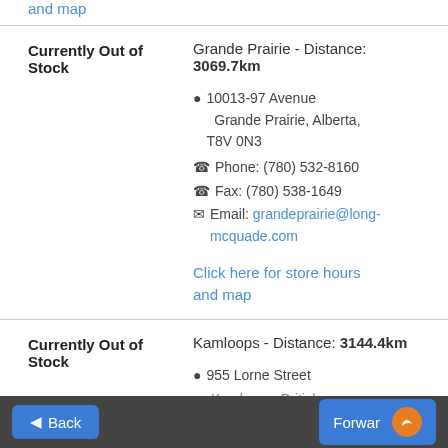and map
Currently Out of Stock
Grande Prairie - Distance: 3069.7km
10013-97 Avenue Grande Prairie, Alberta, T8V 0N3
Phone: (780) 532-8160
Fax: (780) 538-1649
Email: grandeprairie@long-mcquade.com
Click here for store hours and map
Currently Out of Stock
Kamloops - Distance: 3144.4km
955 Lorne Street Kamloops, British Columbia, V2C ...
Back  Forward